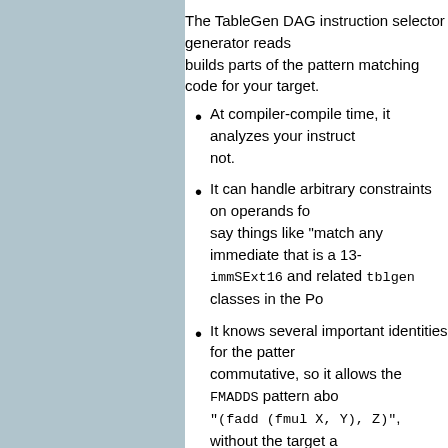The TableGen DAG instruction selector generator reads and builds parts of the pattern matching code for your target.
At compiler-compile time, it analyzes your instructions and determines what patterns they can and cannot match. It will not.
It can handle arbitrary constraints on operands for the instructions. For example, it can say things like "match any immediate that is a 13-bit sign extended value" using the immSExt16 and related tblgen classes in the Po...
It knows several important identities for the pattern matching. For example, it knows that addition is commutative, so it allows the FMADDS pattern above to match "(fadd X, (fmul Y, Z))" as well as "(fadd (fmul X, Y), Z)", without the target au...
It has a full-featured type-inferencing system. In particular, you often don't have to tell the system what type parts of your patterns are. In the FMADDS case above, we didn't have to tell it that all of the nodes in the pattern are of type 'f32'. It was able to infer this from the fact that F4RC has type 'f32'.
Targets can define their own (and rely on built-in) "pattern fragments", which are named, reusable patterns that get inlined into your patterns. For example, the PowerPC-specific "(not x)" operation is actually defined as a pattern fragment that expands because SelectionDAG does not have a native 'not' operation. Targets can use these as they see fit. See the definition of 'not' and 'ine...